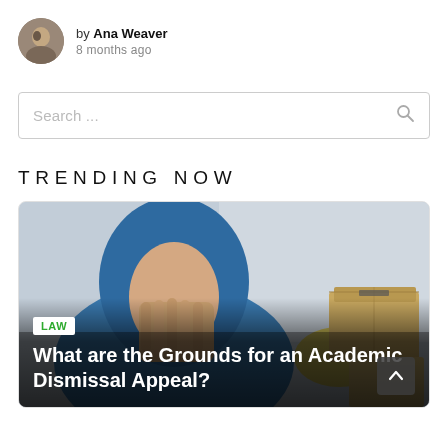by Ana Weaver
8 months ago
Search …
TRENDING NOW
[Figure (photo): Man in blue hoodie covering his face with his hands, cardboard boxes in background]
LAW
What are the Grounds for an Academic Dismissal Appeal?